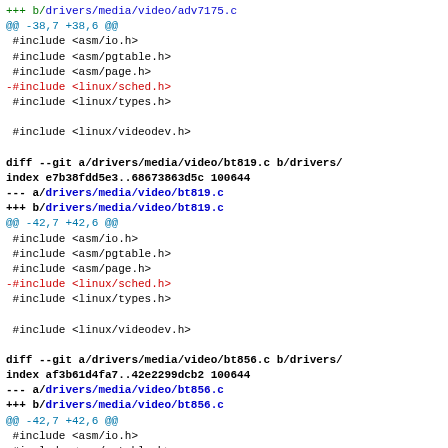+++ b/drivers/media/video/adv7175.c
@@ -38,7 +38,6 @@
 #include <asm/io.h>
 #include <asm/pgtable.h>
 #include <asm/page.h>
-#include <linux/sched.h>
 #include <linux/types.h>

 #include <linux/videodev.h>

diff --git a/drivers/media/video/bt819.c b/drivers/
index e7b38fdd5e3..68673863d5c 100644
--- a/drivers/media/video/bt819.c
+++ b/drivers/media/video/bt819.c
@@ -42,7 +42,6 @@
 #include <asm/io.h>
 #include <asm/pgtable.h>
 #include <asm/page.h>
-#include <linux/sched.h>
 #include <linux/types.h>

 #include <linux/videodev.h>

diff --git a/drivers/media/video/bt856.c b/drivers/
index af3b61d4fa7..42e2299dcb2 100644
--- a/drivers/media/video/bt856.c
+++ b/drivers/media/video/bt856.c
@@ -42,7 +42,6 @@
 #include <asm/io.h>
 #include <asm/pgtable.h>
 #include <asm/page.h>